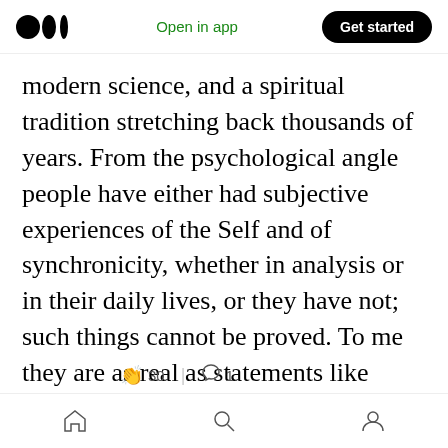Medium logo | Open in app | Get started
modern science, and a spiritual tradition stretching back thousands of years. From the psychological angle people have either had subjective experiences of the Self and of synchronicity, whether in analysis or in their daily lives, or they have not; such things cannot be proved. To me they are as real as statements like 2+2=4, or ‘the sky is blue’; to others they will seem like bizarre, mystical concepts, totally removed from their lives. With regard to quantum physics [clap 30 | comment 1] ve neither the mathematical vocabulary to understand, nor the
Home | Search | Profile